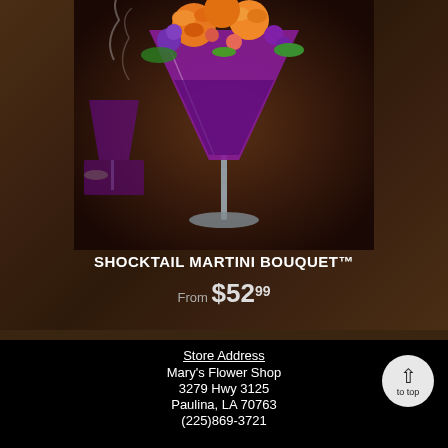[Figure (photo): A floral arrangement of orange roses, purple flowers, and green foliage arranged in a purple martini glass on a dark wood background with a purple cocktail and lime garnish nearby. Steam/smoke effect visible.]
SHOCKTAIL MARTINI BOUQUET™
From $52.99
View Details
Store Address
Mary's Flower Shop
3279 Hwy 3125
Paulina, LA 70763
(225)869-3721